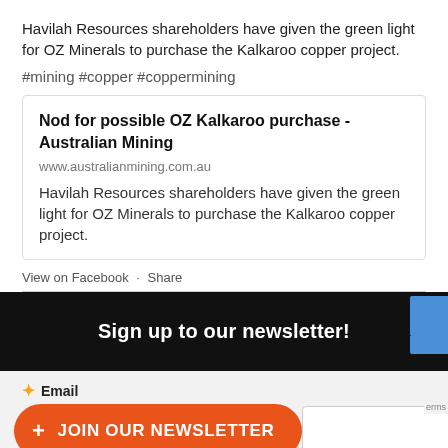Havilah Resources shareholders have given the green light for OZ Minerals to purchase the Kalkaroo copper project.
#mining #copper #coppermining
Nod for possible OZ Kalkaroo purchase - Australian Mining
www.australianmining.com.au
Havilah Resources shareholders have given the green light for OZ Minerals to purchase the Kalkaroo copper project.
View on Facebook  ·  Share
Sign up to our newsletter!
Email
+ JOIN OUR NEWSLETTER
First Name